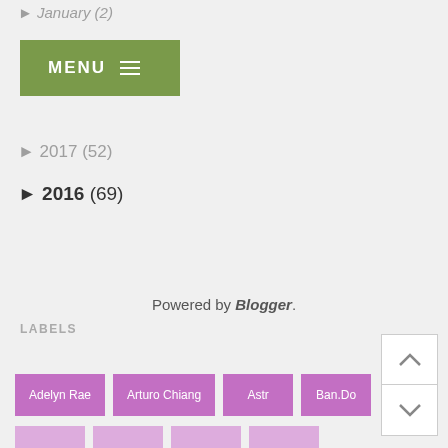► January (2)
[Figure (screenshot): Green MENU button with hamburger icon]
► 2017 (52)
► 2016 (69)
Powered by Blogger.
LABELS
Adelyn Rae
Arturo Chiang
Astr
Ban.Do